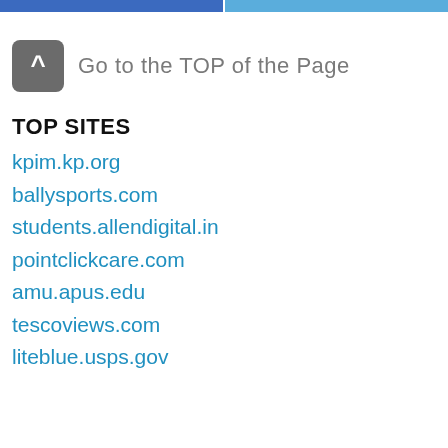[Figure (screenshot): Two colored bars at the top of the page — a dark blue bar on the left and a lighter blue bar on the right, forming a header strip.]
[Figure (logo): Dark grey rounded square icon with a white caret/arrow-up symbol (^) inside it.]
Go to the TOP of the Page
TOP SITES
kpim.kp.org
ballysports.com
students.allendigital.in
pointclickcare.com
amu.apus.edu
tescoviews.com
liteblue.usps.gov